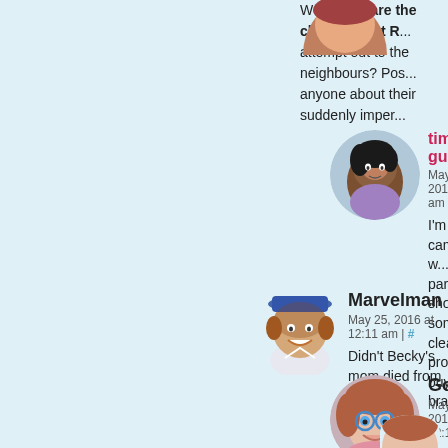Well, what are the chances that R... attempt out to the neighbours? Pos... anyone about their suddenly imper...
tim gueguen
May 25, 2016 at 2:05 am
I'm sure he came up w... paramedics showed u... some cleaning produ... buy that brand."
Marvelman
May 25, 2016 at 12:11 am | #
Didn't Becky's mom died from can...
Gordon
May 25, 2016 at 12:12 a...
That's what Toedad to... true.
Gordon
May 25, 2016 at 12...